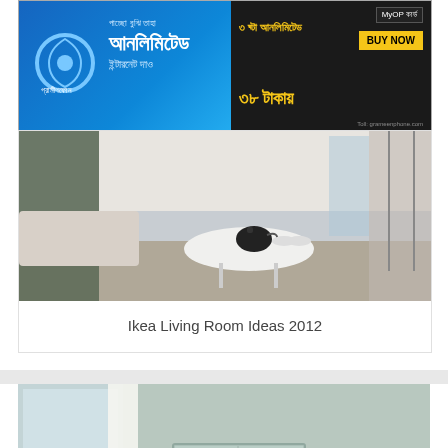[Figure (photo): Bengali mobile data advertisement banner with blue gradient background, Grameenphone logo, Bengali text for unlimited internet, yellow highlighted '3 hours unlimited' offer for 38 Taka, BUY NOW button]
[Figure (photo): Partial view of a modern living room with a white round table, black teapot, white sofa, and glass partition in background]
Ikea Living Room Ideas 2012
[Figure (photo): IKEA living room display with mint green wall units, glass-front cabinets, sofa, cushions, coffee table, lamp, plants, framed art and television]